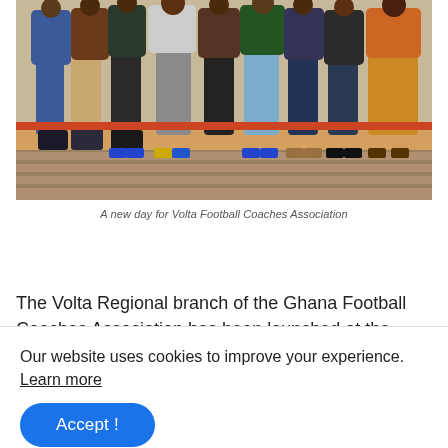[Figure (photo): Group of young men sitting on a low wall or bench, showing their legs and colorful sneakers, outdoor setting with brick pavement]
A new day for Volta Football Coaches Association
The Volta Regional branch of the Ghana Football Coaches Association has been launched at the premises of Pleasure Garden in Ho with its Executive outdoor in a colourful ceremony on Saturday.
Our website uses cookies to improve your experience. Learn more